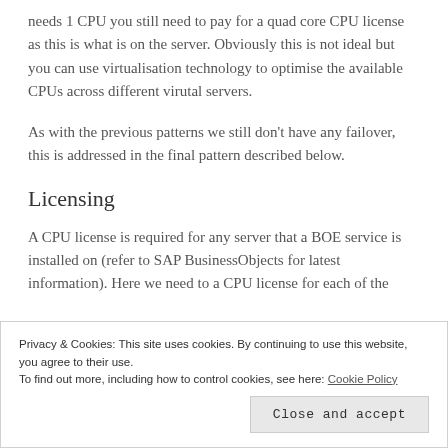needs 1 CPU you still need to pay for a quad core CPU license as this is what is on the server. Obviously this is not ideal but you can use virtualisation technology to optimise the available CPUs across different virutal servers.
As with the previous patterns we still don't have any failover, this is addressed in the final pattern described below.
Licensing
A CPU license is required for any server that a BOE service is installed on (refer to SAP BusinessObjects for latest information). Here we need to a CPU license for each of the
Privacy & Cookies: This site uses cookies. By continuing to use this website, you agree to their use.
To find out more, including how to control cookies, see here: Cookie Policy
Close and accept